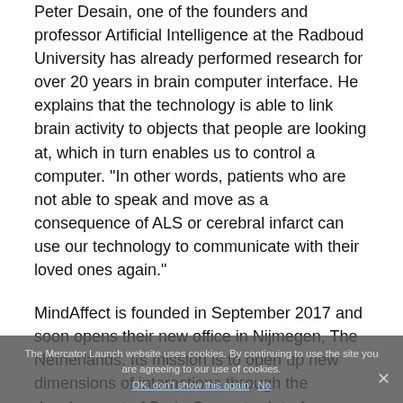Peter Desain, one of the founders and professor Artificial Intelligence at the Radboud University has already performed research for over 20 years in brain computer interface. He explains that the technology is able to link brain activity to objects that people are looking at, which in turn enables us to control a computer. "In other words, patients who are not able to speak and move as a consequence of ALS or cerebral infarct can use our technology to communicate with their loved ones again."
MindAffect is founded in September 2017 and soon opens their new office in Nijmegen, The Netherlands. Its mission is to open up new dimensions of interactions through the development of Brain Computer Interface. With the €1 million investment by a consortium of Dutch investors, the startup is empowered to complete its mission. Ivo de la Rive Box, CEO of MindAffect, is proud of the investment: "We feel honoured
The Mercator Launch website uses cookies. By continuing to use the site you are agreeing to our use of cookies. OK, don't show this again · No